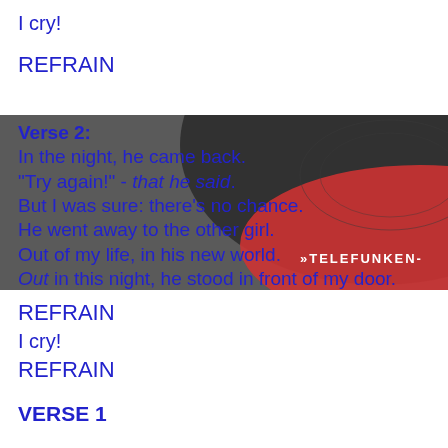I cry!
REFRAIN
Verse 2:
In the night, he came back.
“Try again!” - that he said.
But I was sure: there’s no chance.
He went away to the other girl.
Out of my life, in his new world.
Out in this night, he stood in front of my door.
[Figure (photo): Background photo of a vinyl record with a red Telefunken label, partially visible, dark tones.]
REFRAIN
I cry!
REFRAIN
VERSE 1
REFRAIN
I cry!